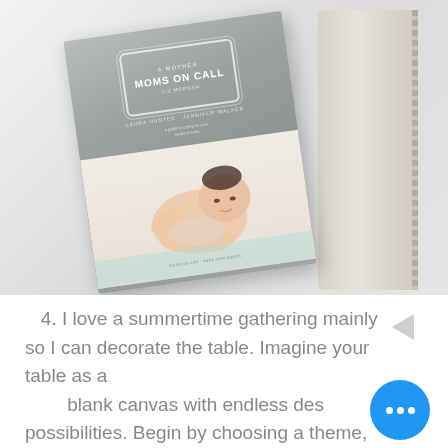[Figure (photo): A photo of a 'Moms On Call' baby care book with a gray cover featuring a baby photo, placed next to a light gray/beige blanket on a white surface.]
4. I love a summertime gathering mainly so I can decorate the table. Imagine your table as a blank canvas with endless design possibilities. Begin by choosing a theme,